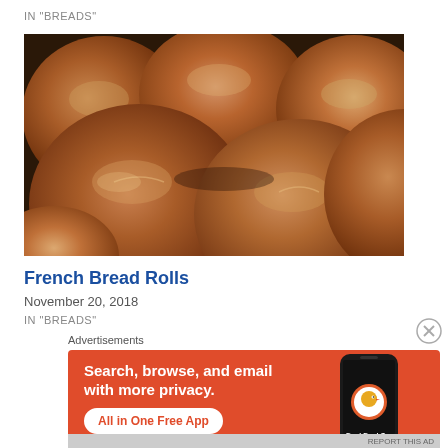IN "BREADS"
[Figure (photo): Close-up photo of multiple golden-brown baked bread rolls on a wire cooling rack]
French Bread Rolls
November 20, 2018
IN "BREADS"
Advertisements
[Figure (infographic): DuckDuckGo advertisement banner with orange background reading 'Search, browse, and email with more privacy. All in One Free App' with a phone image and DuckDuckGo logo]